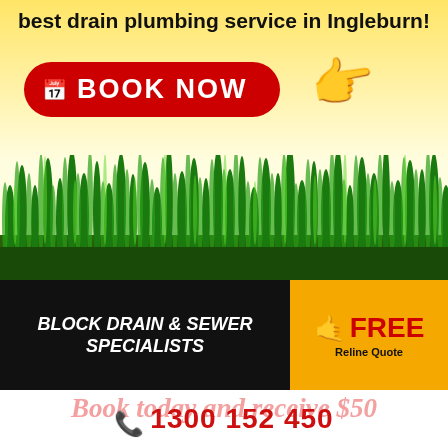best drain plumbing service in Ingleburn!
[Figure (infographic): Red 'BOOK NOW' button with calendar icon and pointing hand emoji on yellow gradient background, above a grass illustration]
[Figure (infographic): Black banner reading 'BLOCK DRAIN & SEWER SPECIALISTS' in bold italic white text, with orange box showing 'FREE Reline Quote' in red and black text]
Book today and receive $50
1300 152 450